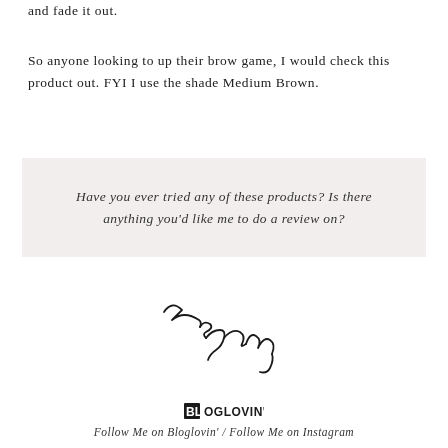and fade it out.
So anyone looking to up their brow game, I would check this product out. FYI I use the shade Medium Brown.
Have you ever tried any of these products? Is there anything you'd like me to do a review on?
[Figure (illustration): Handwritten cursive signature reading 'Tegan']
[Figure (logo): Bloglovin logo icon]
Follow Me on Bloglovin' / Follow Me on Instagram